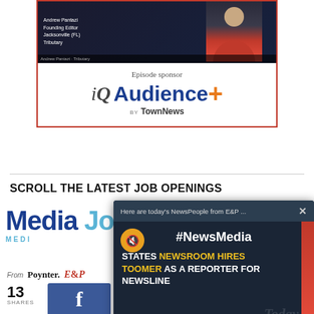[Figure (screenshot): Video screenshot showing Andrew Pantazi, Founding Editor of Jacksonville (FL) Tributary, in a video call interface]
[Figure (logo): Episode sponsor logo: iQ Audience+ by TownNews]
SCROLL THE LATEST JOB OPENINGS
[Figure (logo): Media Jobs logo with MEDI text in blue]
From Poynter. E&P
13 SHARES
[Figure (screenshot): Popup overlay showing #NewsMedia headline: STATES NEWSROOM HIRES TOOMER AS A REPORTER FOR NEWSLINE, from E&P NewsPeople]